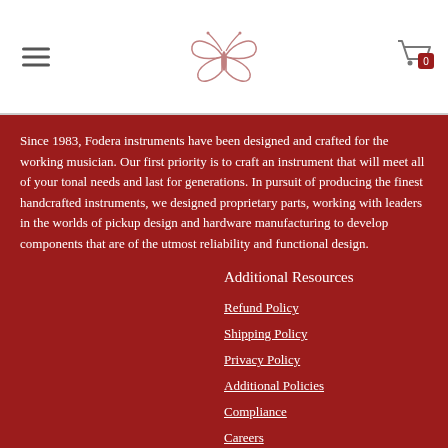[Fodera logo butterfly icon and cart icon with 0]
Since 1983, Fodera instruments have been designed and crafted for the working musician.  Our first priority is to craft an instrument that will meet all of your tonal needs and last for generations.  In pursuit of producing the finest handcrafted instruments, we designed proprietary parts, working with leaders in the worlds of pickup design and hardware manufacturing to develop components that are of the utmost reliability and functional design.
Additional Resources
Refund Policy
Shipping Policy
Privacy Policy
Additional Policies
Compliance
Careers
Contact
Pricing
Do not sell my personal information